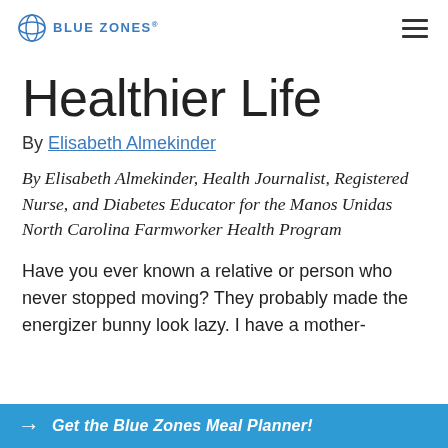BLUE ZONES'
Healthier Life
By Elisabeth Almekinder
By Elisabeth Almekinder, Health Journalist, Registered Nurse, and Diabetes Educator for the Manos Unidas North Carolina Farmworker Health Program
Have you ever known a relative or person who never stopped moving? They probably made the energizer bunny look lazy. I have a mother-
Get the Blue Zones Meal Planner!